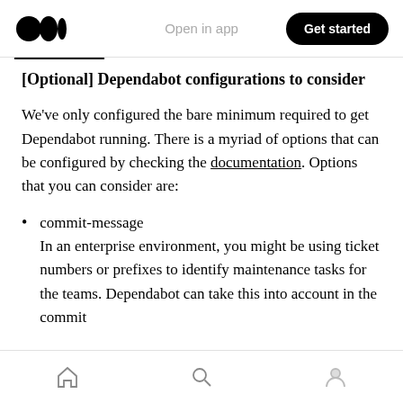Open in app | Get started
[Optional] Dependabot configurations to consider
We've only configured the bare minimum required to get Dependabot running. There is a myriad of options that can be configured by checking the documentation. Options that you can consider are:
commit-message
In an enterprise environment, you might be using ticket numbers or prefixes to identify maintenance tasks for the teams. Dependabot can take this into account in the commit
home | search | profile